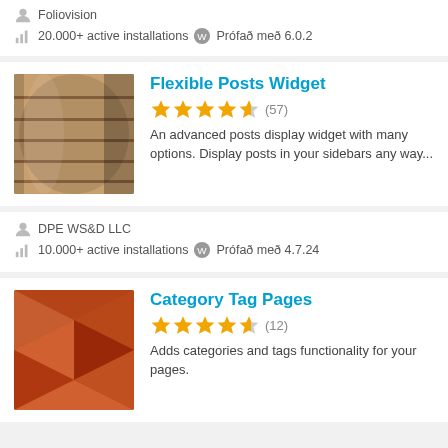Foliovision
20.000+ active installations  Prófað með 6.0.2
Flexible Posts Widget
(57)
An advanced posts display widget with many options. Display posts in your sidebars any way...
DPE WS&D LLC
10.000+ active installations  Prófað með 4.7.24
Category Tag Pages
(12)
Adds categories and tags functionality for your pages.